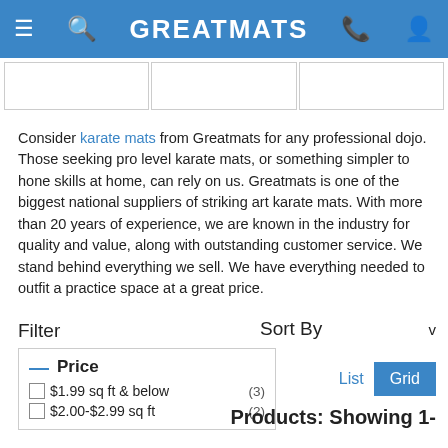GREATMATS
[Figure (other): Three product image placeholder boxes in a horizontal strip]
Consider karate mats from Greatmats for any professional dojo. Those seeking pro level karate mats, or something simpler to hone skills at home, can rely on us. Greatmats is one of the biggest national suppliers of striking art karate mats. With more than 20 years of experience, we are known in the industry for quality and value, along with outstanding customer service. We stand behind everything we sell. We have everything needed to outfit a practice space at a great price.
Filter
Sort By
— Price
$1.99 sq ft & below   (3)
$2.00-$2.99 sq ft   (2)
List  Grid
Products: Showing 1-